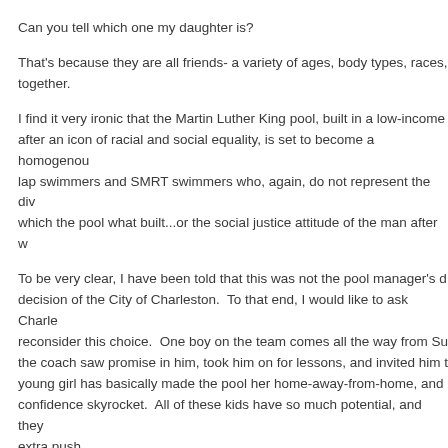Can you tell which one my daughter is?
That's because they are all friends- a variety of ages, body types, races, together.
I find it very ironic that the Martin Luther King pool, built in a low-income after an icon of racial and social equality, is set to become a homogenou lap swimmers and SMRT swimmers who, again, do not represent the div which the pool what built...or the social justice attitude of the man after w
To be very clear, I have been told that this was not the pool manager's d decision of the City of Charleston. To that end, I would like to ask Charle reconsider this choice. One boy on the team comes all the way from Su the coach saw promise in him, took him on for lessons, and invited him t young girl has basically made the pool her home-away-from-home, and confidence skyrocket. All of these kids have so much potential, and they extra push.
We are living through a pandemic, staffing everywhere is low, and sacrif made, but I don't think asking our families--and only our families--to sacr
For Julia and for all of these kids who have embraced her, made her fina something, I beg you to reconsider your decision.
Sincerely,